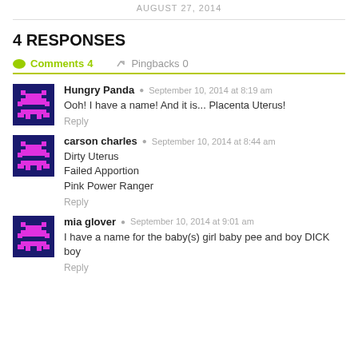AUGUST 27, 2014
4 RESPONSES
Comments 4   Pingbacks 0
Hungry Panda  September 10, 2014 at 8:19 am
Ooh! I have a name! And it is... Placenta Uterus!
Reply
carson charles  September 10, 2014 at 8:44 am
Dirty Uterus
Failed Apportion
Pink Power Ranger
Reply
mia glover  September 10, 2014 at 9:01 am
I have a name for the baby(s) girl baby pee and boy DICK boy
Reply